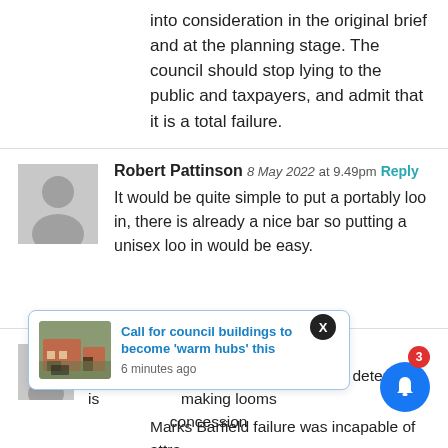into consideration in the original brief and at the planning stage. The council should stop lying to the public and taxpayers, and admit that it is a total failure.
Robert Pattinson 8 May 2022 at 9.49pm Reply
It would be quite simple to put a portably loo in, there is already a nice bar so putting a unisex loo in would be easy.
Valerie 7 May 2022 at 6.00pm Reply
The single question councillors MUST determine is ... making looms ... concession ... Marks Barfield failure was incapable of attracting the finance to erect it after its owner got the ...
[Figure (screenshot): Notification popup: 'Call for council buildings to become warm hubs this' with image of brick building, '6 minutes ago', close X button, bell icon with badge showing 3]